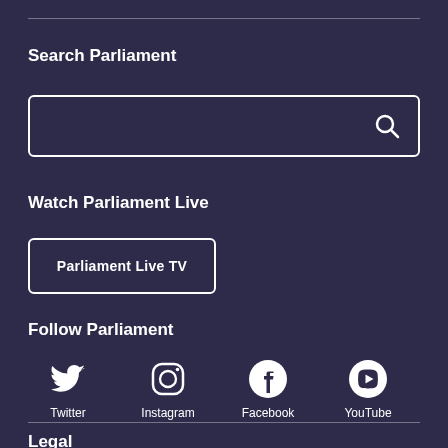Search Parliament
[Figure (other): Search input box with magnifying glass icon]
Watch Parliament Live
Parliament Live TV
Follow Parliament
[Figure (infographic): Social media icons: Twitter, Instagram, Facebook, YouTube]
Legal